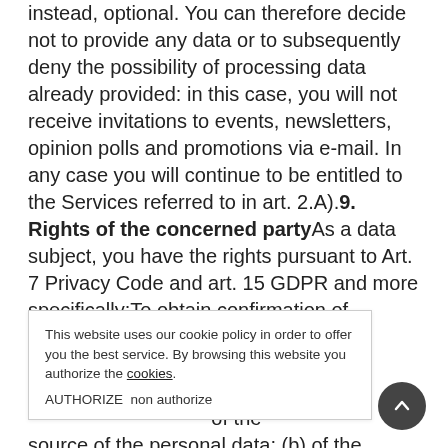for the purposes referred to in Article 2.A), instead, optional. You can therefore decide not to provide any data or to subsequently deny the possibility of processing data already provided: in this case, you will not receive invitations to events, newsletters, opinion polls and promotions via e-mail. In any case you will continue to be entitled to the Services referred to in art. 2.A).9. Rights of the concerned partyAs a data subject, you have the rights pursuant to Art. 7 Privacy Code and art. 15 GDPR and more specifically:To obtain confirmation of the personal data registered, an of the source of the personal data; (b) of the
This website uses our cookie policy in order to offer you the best service. By browsing this website you authorize the cookies. AUTHORIZE non authorize